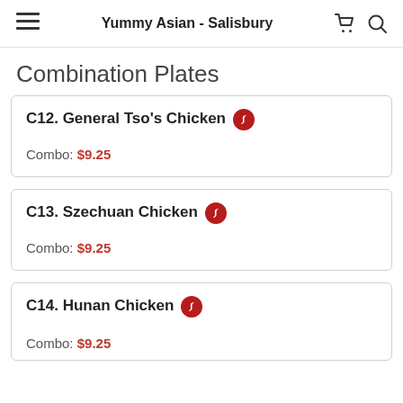Yummy Asian - Salisbury
Combination Plates
C12. General Tso's Chicken
Combo: $9.25
C13. Szechuan Chicken
Combo: $9.25
C14. Hunan Chicken
Combo: $9.25